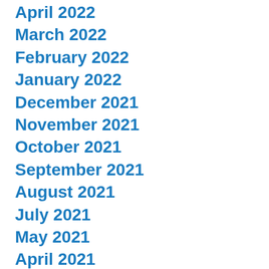April 2022
March 2022
February 2022
January 2022
December 2021
November 2021
October 2021
September 2021
August 2021
July 2021
May 2021
April 2021